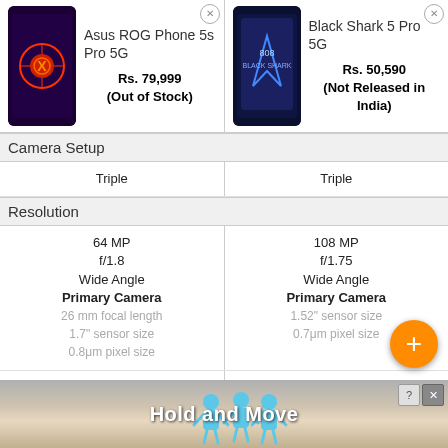| Asus ROG Phone 5s Pro 5G | Black Shark 5 Pro 5G |
| --- | --- |
| Rs. 79,999 (Out of Stock) | Rs. 50,590 (Not Released in India) |
| Camera Setup | Camera Setup |
| Triple | Triple |
| Resolution | Resolution |
| 64 MP f/1.8 Wide Angle Primary Camera 26 mm focal length 1.7" sensor size 0.8μm pixel size | 108 MP f/1.75 Wide Angle Primary Camera 1.52" sensor size 0.7μm pixel size |
| 13 MP f/2.4 Ultra-Wide Angle Camera | 13 MP f/2.4 Ultra-Wide Angle Camera |
[Figure (screenshot): Ad banner showing Hold and Move game with cartoon figures, blue characters]